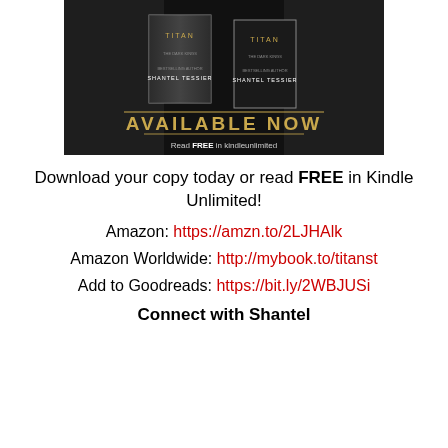[Figure (photo): Book cover image showing 'Titan' by Shantel Tessier with 'AVAILABLE NOW' in gold text and 'Read FREE in kindleunlimited' below, dark background with tattooed arms holding two book covers.]
Download your copy today or read FREE in Kindle Unlimited!
Amazon: https://amzn.to/2LJHAlk
Amazon Worldwide: http://mybook.to/titanst
Add to Goodreads: https://bit.ly/2WBJUSi
Connect with Shantel